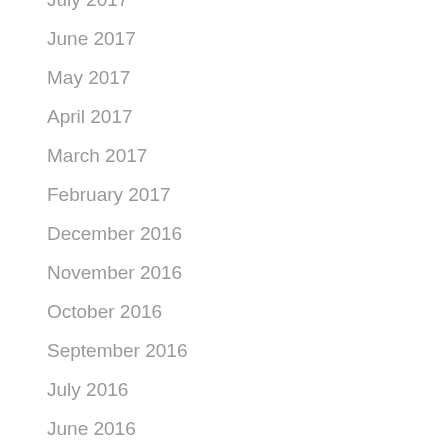July 2017
June 2017
May 2017
April 2017
March 2017
February 2017
December 2016
November 2016
October 2016
September 2016
July 2016
June 2016
May 2016
April 2016
March 2016